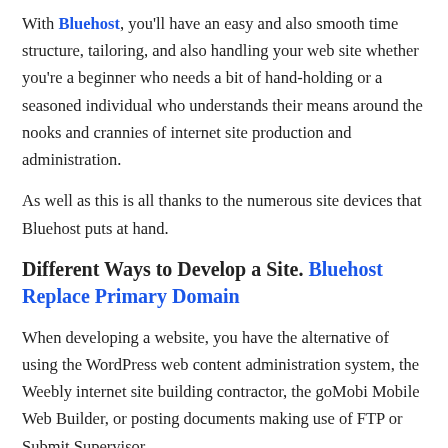With Bluehost, you'll have an easy and also smooth time structure, tailoring, and also handling your web site whether you're a beginner who needs a bit of hand-holding or a seasoned individual who understands their means around the nooks and crannies of internet site production and administration.
As well as this is all thanks to the numerous site devices that Bluehost puts at hand.
Different Ways to Develop a Site. Bluehost Replace Primary Domain
When developing a website, you have the alternative of using the WordPress web content administration system, the Weebly internet site building contractor, the goMobi Mobile Web Builder, or posting documents making use of FTP or Submit Supervisor.
Do Extra With Your Internet site.